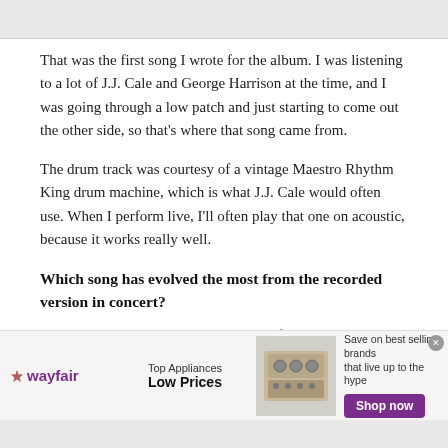That was the first song I wrote for the album. I was listening to a lot of J.J. Cale and George Harrison at the time, and I was going through a low patch and just starting to come out the other side, so that's where that song came from.
The drum track was courtesy of a vintage Maestro Rhythm King drum machine, which is what J.J. Cale would often use. When I perform live, I'll often play that one on acoustic, because it works really well.
Which song has evolved the most from the recorded version in concert?
We've been sorting through two years of live
[Figure (other): Wayfair advertisement banner. Shows Wayfair logo, 'Top Appliances Low Prices' text, image of kitchen appliances, and 'Save on best selling brands that live up to the hype' with 'Shop now' purple button.]